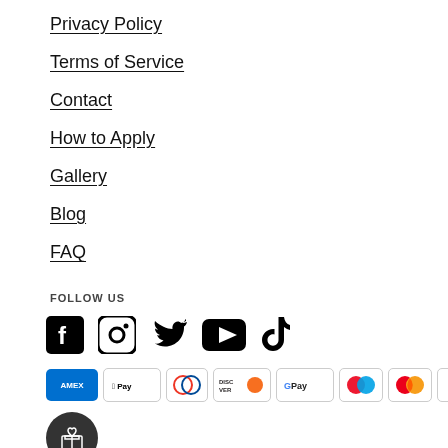Privacy Policy
Terms of Service
Contact
How to Apply
Gallery
Blog
FAQ
FOLLOW US
[Figure (infographic): Social media icons: Facebook, Instagram, Twitter, YouTube, TikTok]
[Figure (infographic): Payment method icons: Amex, Apple Pay, Diners Club, Discover, Google Pay, Mastercard (two variants), PayPal, OPay; and a gift/rewards circular button]